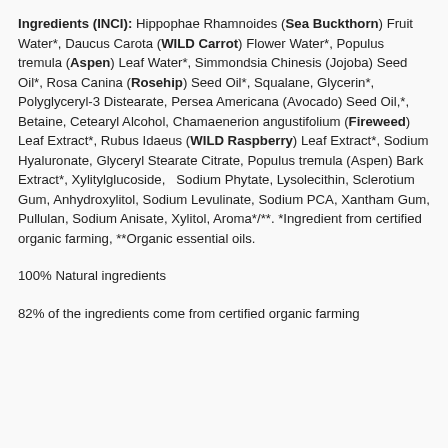Ingredients (INCI): Hippophae Rhamnoides (Sea Buckthorn) Fruit Water*, Daucus Carota (WILD Carrot) Flower Water*, Populus tremula (Aspen) Leaf Water*, Simmondsia Chinesis (Jojoba) Seed Oil*, Rosa Canina (Rosehip) Seed Oil*, Squalane, Glycerin*, Polyglyceryl-3 Distearate, Persea Americana (Avocado) Seed Oil,*, Betaine, Cetearyl Alcohol, Chamaenerion angustifolium (Fireweed) Leaf Extract*, Rubus Idaeus (WILD Raspberry) Leaf Extract*, Sodium Hyaluronate, Glyceryl Stearate Citrate, Populus tremula (Aspen) Bark Extract*, Xylitylglucoside,  Sodium Phytate, Lysolecithin, Sclerotium Gum, Anhydroxylitol, Sodium Levulinate, Sodium PCA, Xantham Gum, Pullulan, Sodium Anisate, Xylitol, Aroma*/**. *Ingredient from certified organic farming, **Organic essential oils.
100% Natural ingredients
82% of the ingredients come from certified organic farming